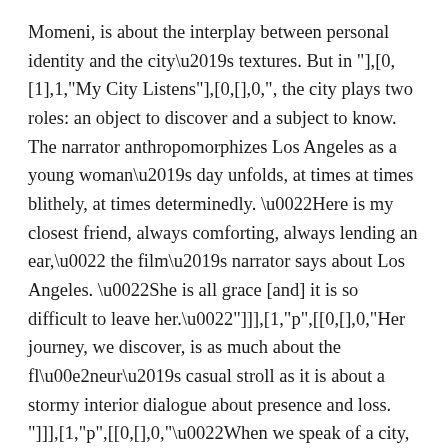Momeni, is about the interplay between personal identity and the city\u2019s textures. But in "]],[0,[1],1,"My City Listens"],[0,[],0,", the city plays two roles: an object to discover and a subject to know. The narrator anthropomorphizes Los Angeles as a young woman\u2019s day unfolds, at times at times blithely, at times determinedly. \u0022Here is my closest friend, always comforting, always lending an ear,\u0022 the film\u2019s narrator says about Los Angeles. \u0022She is all grace [and] it is so difficult to leave her.\u0022"]]],[1,"p",[[0,[],0,"Her journey, we discover, is as much about the fl\u00e2neur\u2019s casual stroll as it is about a stormy interior dialogue about presence and loss. "]]],[1,"p",[[0,[],0,"\u0022When we speak of a city, images of places and people who live there are among the very first images that come to mind,\u0022 says Momeni. \u0022People find attachments and make bonds in certain places, and adopt the characteristics of that place.\u0022 "]]],[10,0],[1,"p",[[0,[],0,"\u0022Personal identity is a complex idea, but one that is reflected and fostered by the world in which we find ourselves,\u0022 says Jeric.\u0022 All around us we are surrounded by design and purpose, buildings and objects that all have an individual story to tell. One by one, these stories help inform